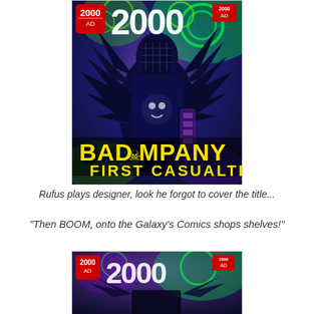[Figure (illustration): 2000 AD comic book cover featuring Bad Company: First Casualties. A dark armored figure with spiky wings/feathers against a psychedelic green and purple background. Large yellow text reads BAD COMPANY and FIRST CASUALTIES. The 2000 AD logo with skull is in the top left and top right corners.]
Rufus plays designer, look he forgot to cover the title...
"Then BOOM, onto the Galaxy's Comics shops shelves!"
[Figure (illustration): Partial view of the bottom of another 2000 AD comic book cover, showing the top portion with the 2000 AD logo and the beginning of a similar psychedelic artwork.]